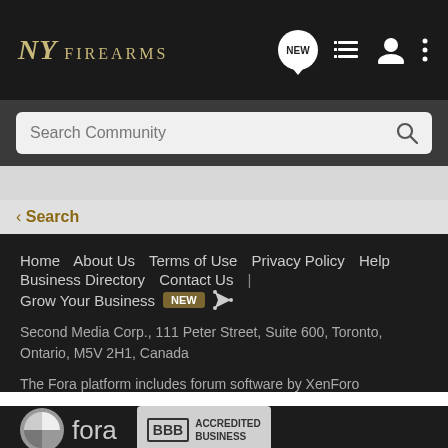NY FIREARMS
Search Community
Search
Home  About Us  Terms of Use  Privacy Policy  Help  Business Directory  Contact Us  |  Grow Your Business  NEW  RSS  Second Media Corp., 111 Peter Street, Suite 600, Toronto, Ontario, M5V 2H1, Canada  The Fora platform includes forum software by XenForo
[Figure (logo): Fora platform logo with circular icon and 'fora' wordmark]
[Figure (logo): BBB Accredited Business badge]